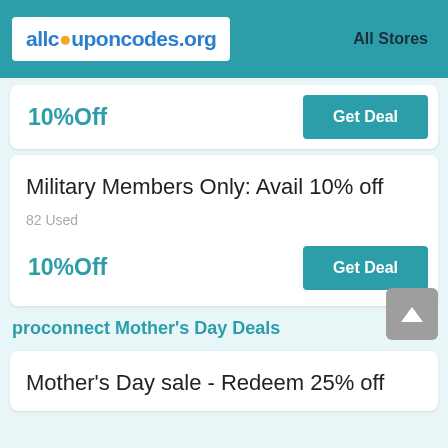allcouponcodes.org — All Stores
10%Off
Get Deal
Military Members Only: Avail 10% off
82 Used
10%Off
Get Deal
proconnect Mother's Day Deals
Mother's Day sale - Redeem 25% off